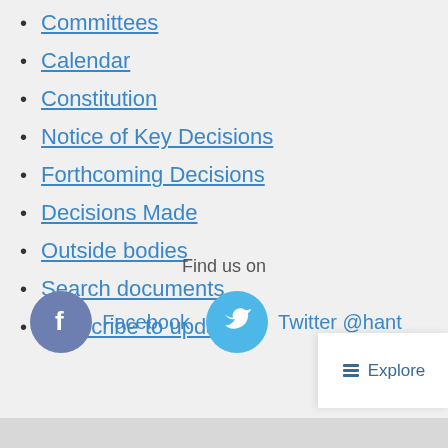Committees
Calendar
Constitution
Notice of Key Decisions
Forthcoming Decisions
Decisions Made
Outside bodies
Search documents
Subscribe to updates
Find us on
[Figure (illustration): Facebook icon circle and Twitter icon circle for social media links]
Facebook  Twitter @hant
Explore